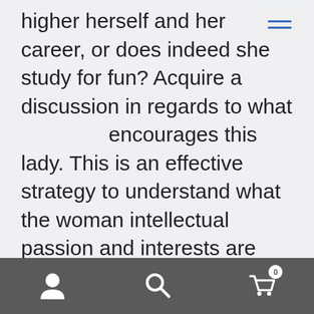higher herself and her career, or does indeed she study for fun? Acquire a discussion in regards to what encourages this lady. This is an effective strategy to understand what the woman intellectual passion and interests are actually, Sullivan says.
20. Who has been likely the most influential person inside your